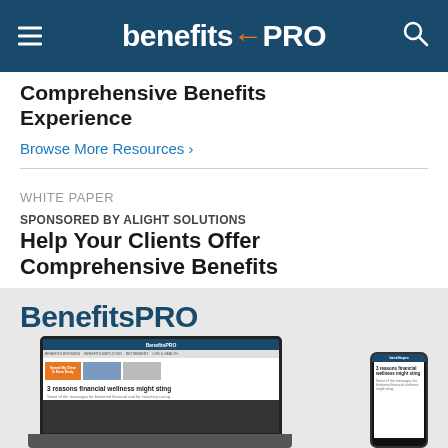benefitsPRO
Comprehensive Benefits Experience
Browse More Resources ›
WHITE PAPER
SPONSORED BY ALIGHT SOLUTIONS
Help Your Clients Offer Comprehensive Benefits
Browse More Resources ›
[Figure (screenshot): BenefitsPRO advertisement banner showing the BenefitsPRO logo in dark blue, and a laptop and phone displaying the BenefitsPRO website with headline '3 reasons financial wellness might sting']